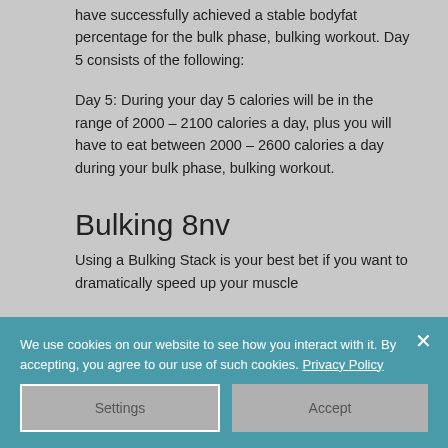have successfully achieved a stable bodyfat percentage for the bulk phase, bulking workout. Day 5 consists of the following:
Day 5: During your day 5 calories will be in the range of 2000 – 2100 calories a day, plus you will have to eat between 2000 – 2600 calories a day during your bulk phase, bulking workout.
Bulking 8nv
Using a Bulking Stack is your best bet if you want to dramatically speed up your muscle
We use cookies on our website to see how you interact with it. By accepting, you agree to our use of such cookies. Privacy Policy
Settings
Accept